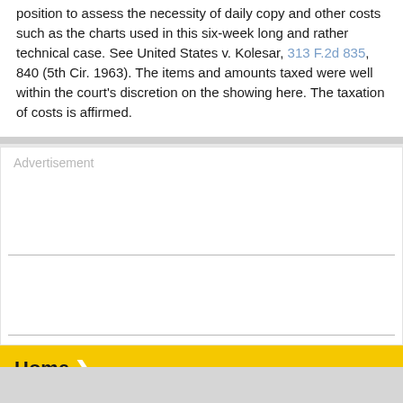position to assess the necessity of daily copy and other costs such as the charts used in this six-week long and rather technical case. See United States v. Kolesar, 313 F.2d 835, 840 (5th Cir. 1963). The items and amounts taxed were well within the court's discretion on the showing here. The taxation of costs is affirmed.
[Figure (other): Advertisement placeholder box with two horizontal divider lines]
Home
[Figure (other): Advertisement placeholder box below Home navigation bar]